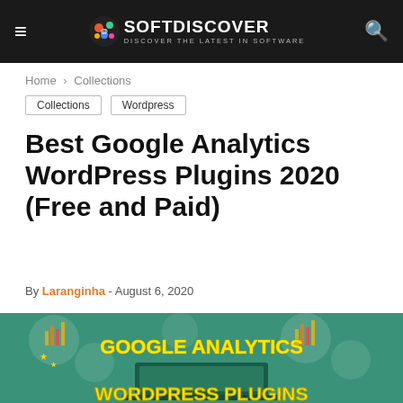SOFTDISCOVER — DISCOVER THE LATEST IN SOFTWARE
Home › Collections
Collections
Wordpress
Best Google Analytics WordPress Plugins 2020 (Free and Paid)
By Laranginha - August 6, 2020
[Figure (illustration): Feature image showing Google Analytics WordPress Plugins illustration with teal background, bar charts, analytics icons, and bold yellow text reading 'GOOGLE ANALYTICS WORDPRESS PLUGINS']